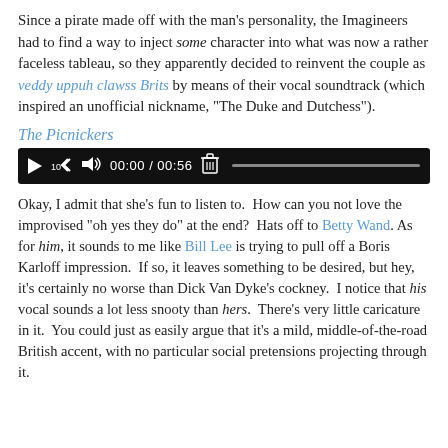Since a pirate made off with the man's personality, the Imagineers had to find a way to inject some character into what was now a rather faceless tableau, so they apparently decided to reinvent the couple as veddy uppuh clawss Brits by means of their vocal soundtrack (which inspired an unofficial nickname, "The Duke and Dutchess").
The Picnickers
[Figure (other): Audio player widget with play button, rewind 10s button, volume button, time display 00:00 / 00:56, trash icon, and progress bar on black background]
Okay, I admit that she's fun to listen to.  How can you not love the improvised "oh yes they do" at the end?  Hats off to Betty Wand. As for him, it sounds to me like Bill Lee is trying to pull off a Boris Karloff impression.  If so, it leaves something to be desired, but hey, it's certainly no worse than Dick Van Dyke's cockney.  I notice that his vocal sounds a lot less snooty than hers.  There's very little caricature in it.  You could just as easily argue that it's a mild, middle-of-the-road British accent, with no particular social pretensions projecting through it.